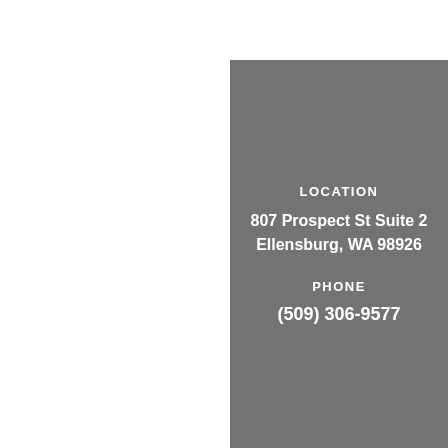LOCATION
807 Prospect St Suite 2
Ellensburg, WA 98926
PHONE
(509) 306-9577